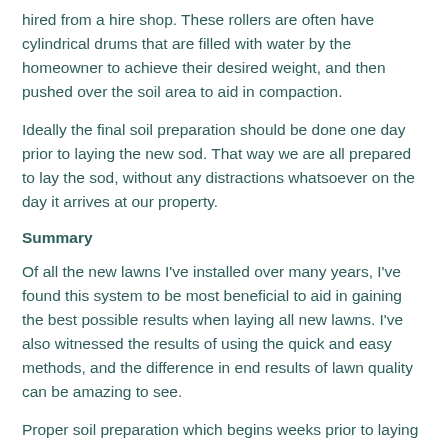hired from a hire shop. These rollers are often have cylindrical drums that are filled with water by the homeowner to achieve their desired weight, and then pushed over the soil area to aid in compaction.
Ideally the final soil preparation should be done one day prior to laying the new sod. That way we are all prepared to lay the sod, without any distractions whatsoever on the day it arrives at our property.
Summary
Of all the new lawns I've installed over many years, I've found this system to be most beneficial to aid in gaining the best possible results when laying all new lawns. I've also witnessed the results of using the quick and easy methods, and the difference in end results of lawn quality can be amazing to see.
Proper soil preparation which begins weeks prior to laying any new sod has so many outstanding benefits for so many years into the future, and should be the only